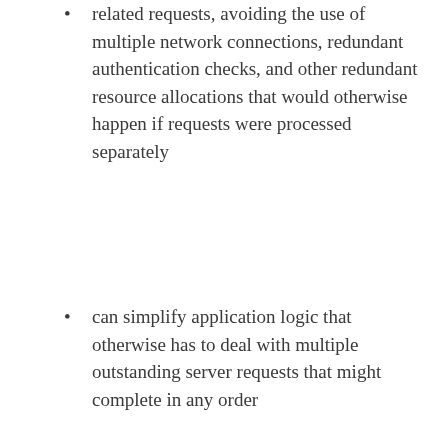related requests, avoiding the use of multiple network connections, redundant authentication checks, and other redundant resource allocations that would otherwise happen if requests were processed separately
can simplify application logic that otherwise has to deal with multiple outstanding server requests that might complete in any order
Queuing is used automatically by many, many framework features, including multi-row grid editing (Grid Mass Editing), multi-row drag & drop, data paging for large trees, "serverCustom" validators, Master-Detail saves, OLAP / datacube functionalty, and many others.
Queuing also has subtler architectural benefits in terms of building reusable